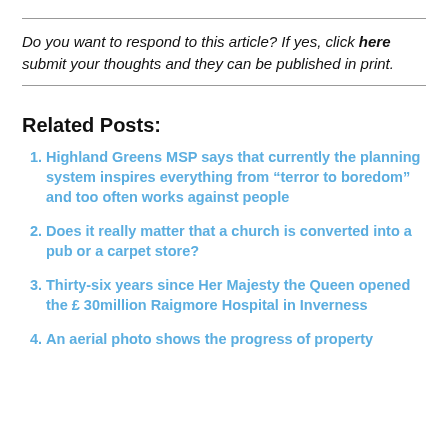Do you want to respond to this article? If yes, click here submit your thoughts and they can be published in print.
Related Posts:
Highland Greens MSP says that currently the planning system inspires everything from “terror to boredom” and too often works against people
Does it really matter that a church is converted into a pub or a carpet store?
Thirty-six years since Her Majesty the Queen opened the £ 30million Raigmore Hospital in Inverness
An aerial photo shows the progress of property